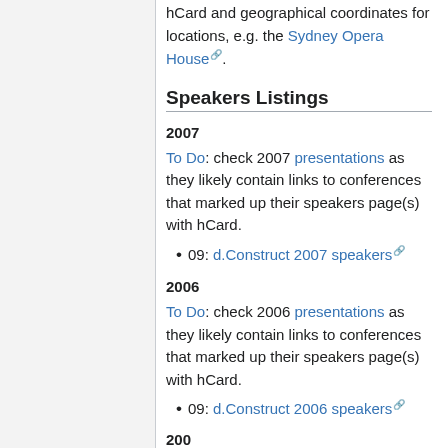hCard and geographical coordinates for locations, e.g. the Sydney Opera House.
Speakers Listings
2007
To Do: check 2007 presentations as they likely contain links to conferences that marked up their speakers page(s) with hCard.
09: d.Construct 2007 speakers
2006
To Do: check 2006 presentations as they likely contain links to conferences that marked up their speakers page(s) with hCard.
09: d.Construct 2006 speakers